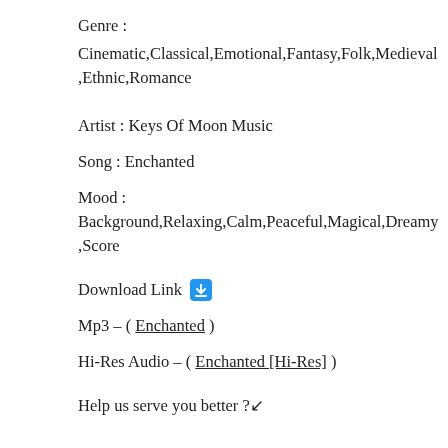Genre :
Cinematic,Classical,Emotional,Fantasy,Folk,Medieval,Ethnic,Romance
Artist : Keys Of Moon Music
Song : Enchanted
Mood :
Background,Relaxing,Calm,Peaceful,Magical,Dreamy,Score
Download Link 🔗
Mp3 – ( Enchanted )
Hi-Res Audio – ( Enchanted [Hi-Res] )
Help us serve you better ?⤵
Subscribe to our youtube channel PLUGNPLAYMUSIC
Make a donation – keeps us Alive & Ad-free. PAYPAL   COFFEE [Ko-fi]   PATREON